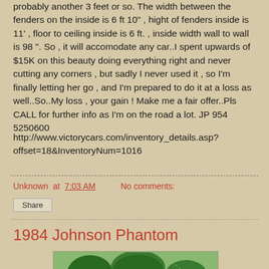probably another 3 feet or so. The width between the fenders on the inside is 6 ft 10" , hight of fenders inside is 11' , floor to ceiling inside is 6 ft. , inside width wall to wall is 98 ". So , it will accomodate any car..I spent upwards of $15K on this beauty doing everything right and never cutting any corners , but sadly I never used it , so I'm finally letting her go , and I'm prepared to do it at a loss as well..So..My loss , your gain ! Make me a fair offer..Pls CALL for further info as I'm on the road a lot. JP 954 5250600
http://www.victorycars.com/inventory_details.asp?offset=18&InventoryNum=1016
Unknown at 7:03 AM    No comments:
Share
1984 Johnson Phantom
[Figure (photo): Outdoor photo showing trees and green grass, likely a park or yard setting]